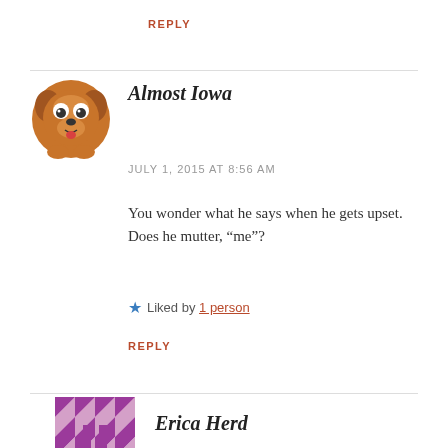REPLY
Almost Iowa
JULY 1, 2015 AT 8:56 AM
You wonder what he says when he gets upset. Does he mutter, “me”?
Liked by 1 person
REPLY
Erica Herd